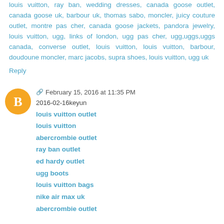louis vuitton, ray ban, wedding dresses, canada goose outlet, canada goose uk, barbour uk, thomas sabo, moncler, juicy couture outlet, montre pas cher, canada goose jackets, pandora jewelry, louis vuitton, ugg, links of london, ugg pas cher, ugg,uggs,uggs canada, converse outlet, louis vuitton, louis vuitton, barbour, doudoune moncler, marc jacobs, supra shoes, louis vuitton, ugg uk
Reply
February 15, 2016 at 11:35 PM
2016-02-16keyun
louis vuitton outlet
louis vuitton
abercrombie outlet
ray ban outlet
ed hardy outlet
ugg boots
louis vuitton bags
nike air max uk
abercrombie outlet